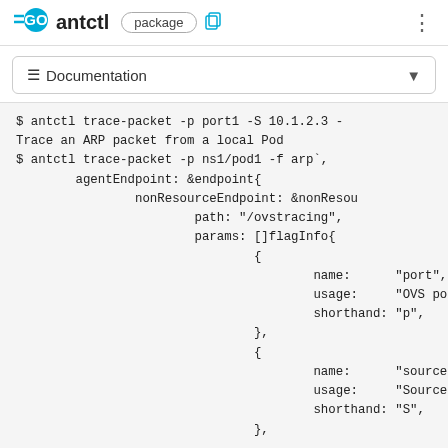GO antctl package
≡ Documentation
$ antctl trace-packet -p port1 -S 10.1.2.3 -
Trace an ARP packet from a local Pod
$ antctl trace-packet -p ns1/pod1 -f arp`,
        agentEndpoint: &endpoint{
                nonResourceEndpoint: &nonResou
                        path: "/ovstracing",
                        params: []flagInfo{
                                {
                                        name:      "port",
                                        usage:     "OVS po
                                        shorthand: "p",
                                },
                                {
                                        name:      "source
                                        usage:     "Source
                                        shorthand: "S",
                                },